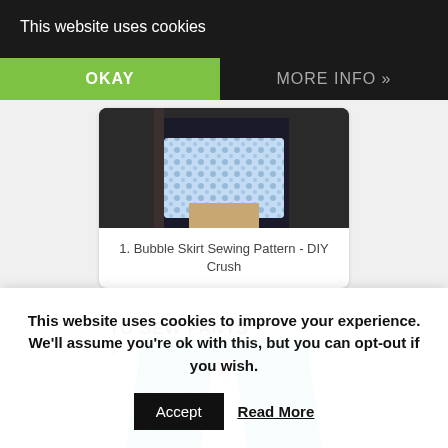This website uses cookies
OKAY
MORE INFO
[Figure (photo): Bubble skirt sewing pattern photo showing a blue and white printed skirt]
1. Bubble Skirt Sewing Pattern - DIY Crush
[Figure (photo): How to sew pants tutorial image showing teal/turquoise patterned pants with text 'TO SEW PANTS' and an arrow]
This website uses cookies to improve your experience. We'll assume you're ok with this, but you can opt-out if you wish.
Accept
Read More